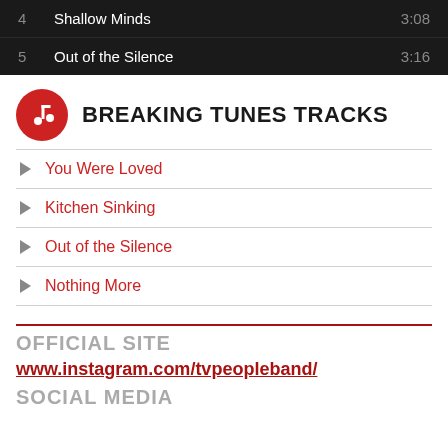| # | Track | Duration |
| --- | --- | --- |
| 4 | Shallow Minds | 3:08 |
| 5 | Out of the Silence | 3:16 |
BREAKING TUNES TRACKS
You Were Loved
Kitchen Sinking
Out of the Silence
Nothing More
OFFICIAL SITE
www.instagram.com/tvpeopleband/
SOCIAL MEDIA